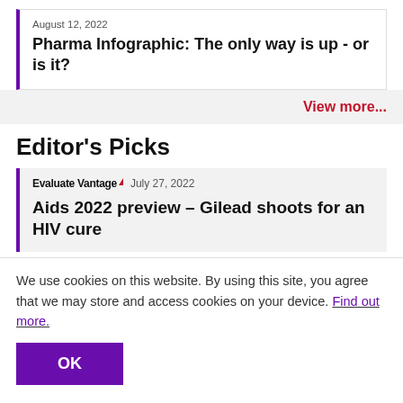August 12, 2022
Pharma Infographic: The only way is up - or is it?
View more...
Editor's Picks
Evaluate Vantage  July 27, 2022
Aids 2022 preview – Gilead shoots for an HIV cure
We use cookies on this website. By using this site, you agree that we may store and access cookies on your device. Find out more.
OK